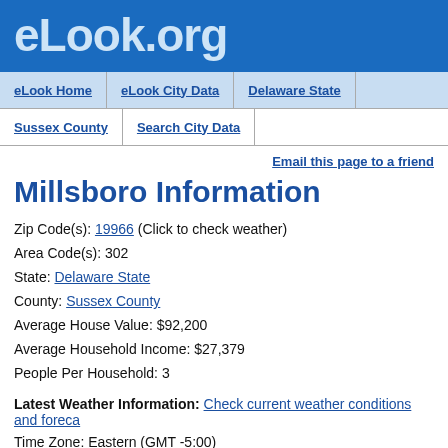eLook.org
eLook Home | eLook City Data | Delaware State | Sussex County | Search City Data
Email this page to a friend
Millsboro Information
Zip Code(s): 19966 (Click to check weather)
Area Code(s): 302
State: Delaware State
County: Sussex County
Average House Value: $92,200
Average Household Income: $27,379
People Per Household: 3
Latest Weather Information: Check current weather conditions and forecast
Time Zone: Eastern (GMT -5:00)